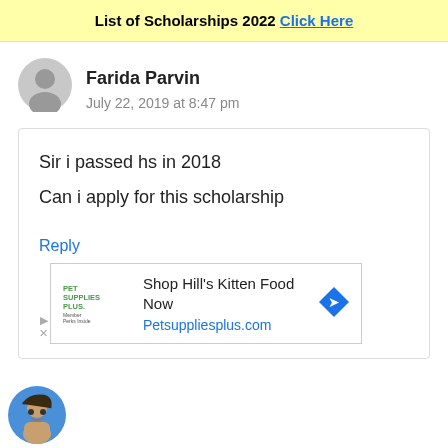List of Scholarships 2022 Click Here
Farida Parvin
July 22, 2019 at 8:47 pm
Sir i passed hs in 2018

Can i apply for this scholarship
Reply
[Figure (infographic): Pet Supplies Plus advertisement banner showing logo, text 'Shop Hill's Kitten Food Now', URL 'Petsuppliesplus.com', and a blue diamond navigation arrow icon]